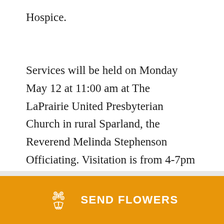Hospice.
Services will be held on Monday May 12 at 11:00 am at The LaPrairie United Presbyterian Church in rural Sparland, the Reverend Melinda Stephenson Officiating. Visitation is from 4-7pm Sunday May 11 at Lenz Memorial Home in Lacon.
[Figure (illustration): Orange button with flower bouquet icon and text SEND FLOWERS]